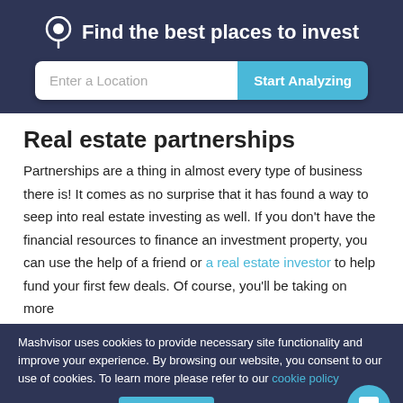Find the best places to invest
Enter a Location
Real estate partnerships
Partnerships are a thing in almost every type of business there is! It comes as no surprise that it has found a way to seep into real estate investing as well. If you don't have the financial resources to finance an investment property, you can use the help of a friend or a real estate investor to help fund your first few deals. Of course, you'll be taking on more
Mashvisor uses cookies to provide necessary site functionality and improve your experience. By browsing our website, you consent to our use of cookies. To learn more please refer to our cookie policy
Accept
Reject